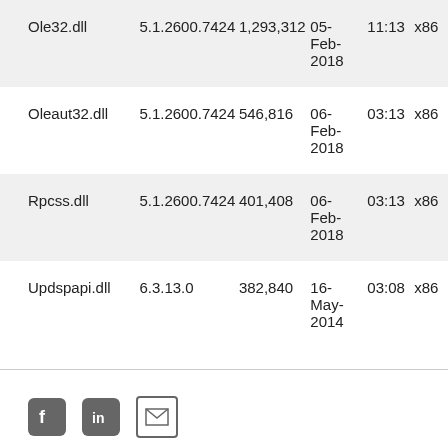| File | Version | Size | Date | Time | Arch |
| --- | --- | --- | --- | --- | --- |
| Ole32.dll | 5.1.2600.7424 | 1,293,312 | 05-Feb-2018 | 11:13 | x86 |
| Oleaut32.dll | 5.1.2600.7424 | 546,816 | 06-Feb-2018 | 03:13 | x86 |
| Rpcss.dll | 5.1.2600.7424 | 401,408 | 06-Feb-2018 | 03:13 | x86 |
| Updspapi.dll | 6.3.13.0 | 382,840 | 16-May-2014 | 03:08 | x86 |
[Figure (other): Social media icons: Facebook, LinkedIn, Email]